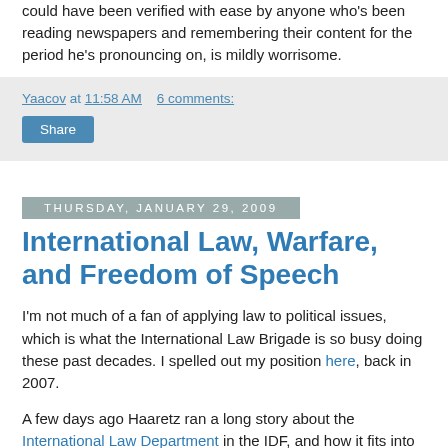could have been verified with ease by anyone who's been reading newspapers and remembering their content for the period he's pronouncing on, is mildly worrisome.
Yaacov at 11:58 AM    6 comments:
Share
Thursday, January 29, 2009
International Law, Warfare, and Freedom of Speech
I'm not much of a fan of applying law to political issues, which is what the International Law Brigade is so busy doing these past decades. I spelled out my position here, back in 2007.
A few days ago Haaretz ran a long story about the International Law Department in the IDF, and how it fits into the picture. It's a fascinating article, especially if you set aside the newspaper's agenda (They're horrified by their